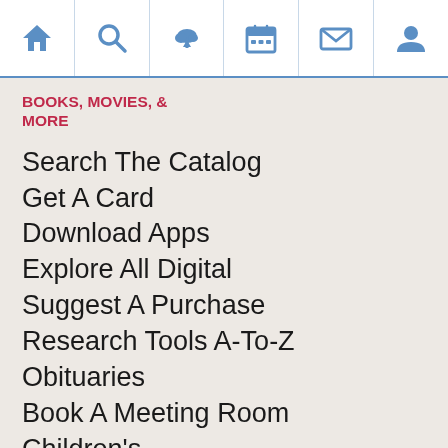Navigation bar with icons: home, search, download/cloud, calendar, mail, user
BOOKS, MOVIES, & MORE
Search The Catalog
Get A Card
Download Apps
Explore All Digital
Suggest A Purchase
Research Tools A-To-Z
Obituaries
Book A Meeting Room
Children's